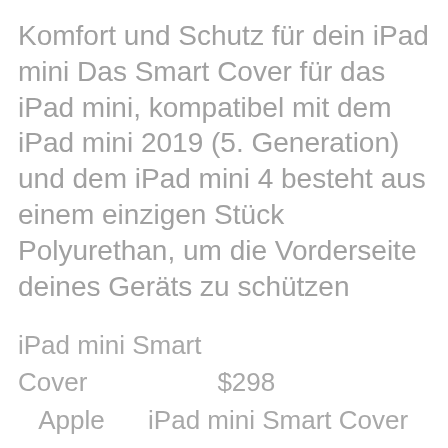Komfort und Schutz für dein iPad mini Das Smart Cover für das iPad mini, kompatibel mit dem iPad mini 2019 (5. Generation) und dem iPad mini 4 besteht aus einem einzigen Stück Polyurethan, um die Vorderseite deines Geräts zu schützen
iPad mini Smart Cover $298 Apple iPad mini Smart Cover $298 Apple iPad mini Smart Cover $298 Apple iPad mini Smart Cover $298 Apple iPad mini Smart Cover